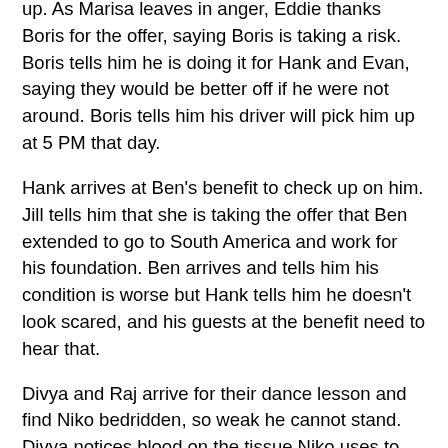up. As Marisa leaves in anger, Eddie thanks Boris for the offer, saying Boris is taking a risk. Boris tells him he is doing it for Hank and Evan, saying they would be better off if he were not around. Boris tells him his driver will pick him up at 5 PM that day.
Hank arrives at Ben's benefit to check up on him. Jill tells him that she is taking the offer that Ben extended to go to South America and work for his foundation. Ben arrives and tells him his condition is worse but Hank tells him he doesn't look scared, and his guests at the benefit need to hear that.
Divya and Raj arrive for their dance lesson and find Niko bedridden, so weak he cannot stand. Divya notices blood on the tissue Niko uses to cover his mouth while coughing. She asks Raj to get her bag from the car and dial 911.
At the benefit, Ben is telling the story of his disease. His message is that he is not his disease. As he is speaking, his vision starts to fade and he has trouble standing . Hank has been noticing his medical history during the ceremony, and...